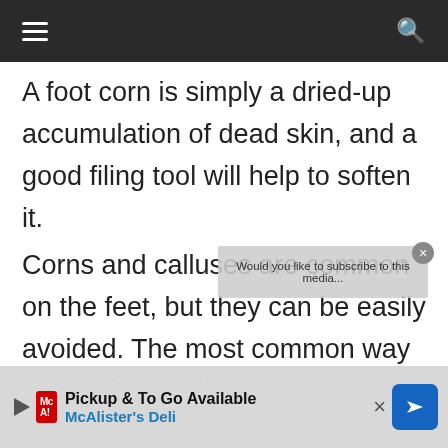Navigation bar with hamburger menu and search icon
A foot corn is simply a dried-up accumulation of dead skin, and a good filing tool will help to soften it.
Corns and calluses are common on the feet, but they can be easily avoided. The most common way to avoid corns is to wear comfortable shoes and toenails that can move freely. Some people have trouble with corns because their shoes do not fit
[Figure (screenshot): Advertisement overlay for McAlister's Deli: Pickup & To Go Available, with logo, close button, and directional arrow icon]